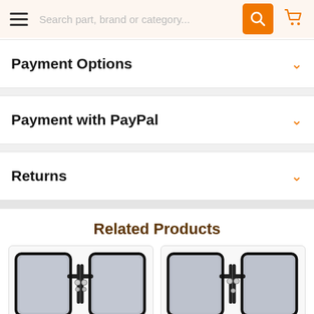Search part, brand or category...
Payment Options
Payment with PayPal
Returns
Related Products
[Figure (photo): Two car side mirrors shown side by side, black framed with smoked/grey glass, appearing to be towing mirrors for a truck or SUV]